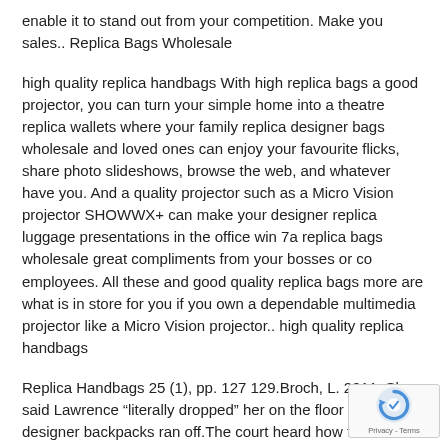enable it to stand out from your competition. Make you sales.. Replica Bags Wholesale
high quality replica handbags With high replica bags a good projector, you can turn your simple home into a theatre replica wallets where your family replica designer bags wholesale and loved ones can enjoy your favourite flicks, share photo slideshows, browse the web, and whatever have you. And a quality projector such as a Micro Vision projector SHOWWX+ can make your designer replica luggage presentations in the office win 7a replica bags wholesale great compliments from your bosses or co employees. All these and good quality replica bags more are what is in store for you if you own a dependable multimedia projector like a Micro Vision projector.. high quality replica handbags
Replica Handbags 25 (1), pp. 127 129.Broch, L. 2011. She said Lawrence “literally dropped” her on the floor and replica designer backpacks ran off.The court heard how the entire attack lasted around five minutes, which has left Miss Thomas too scared to go back to her house. She has since moved back with her mum in Maesteg.Mylee Billingham murder dad ‘faces attack buy replica bags online in prison’ after being